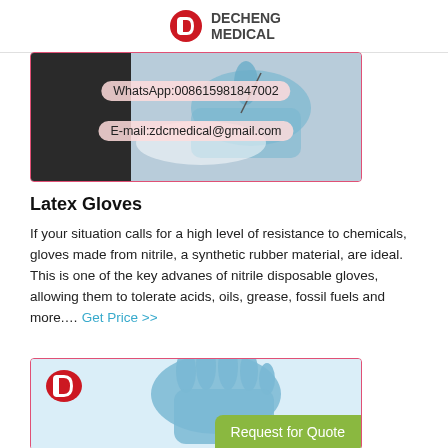DECHENG MEDICAL
[Figure (photo): Blue nitrile/latex glove on white plate with WhatsApp and email contact info overlaid in pink badges. WhatsApp:008615981847002, E-mail:zdcmedical@gmail.com]
Latex Gloves
If your situation calls for a high level of resistance to chemicals, gloves made from nitrile, a synthetic rubber material, are ideal. This is one of the key advanes of nitrile disposable gloves, allowing them to tolerate acids, oils, grease, fossil fuels and more.... Get Price >>
[Figure (photo): Blue nitrile/latex glove raised against white background, with Decheng Medical logo in top left corner and a green Request for Quote button at the bottom right.]